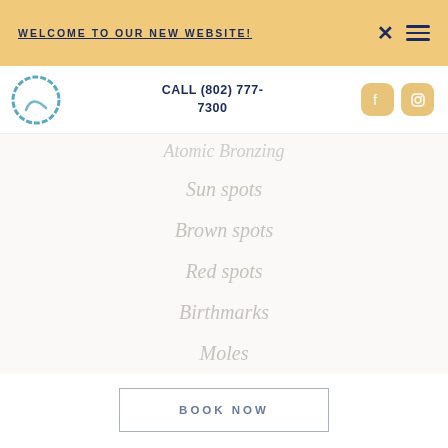WELCOME TO OUR NEW WEBSITE!
CALL (802) 777-7300
Atomic Bronzing
Sun spots
Brown spots
Red spots
Birthmarks
Moles
BOOK NOW